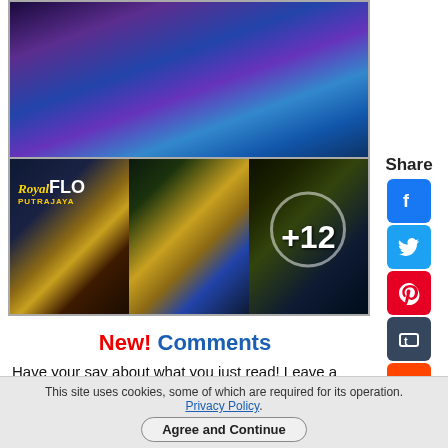[Figure (photo): Top photo showing colorful illuminated flower display at Royal Floria Putrajaya at night with purple and blue lighting]
[Figure (photo): Three smaller photos: Royal Floria Putrajaya sign, mosque/pavilion at night, clock face with +12 overlay]
New! Comments
Have your say about what you just read! Leave a comment in the box below.
0 Comments
Sort by Newest
This site uses cookies, some of which are required for its operation. Privacy Policy. Agree and Continue